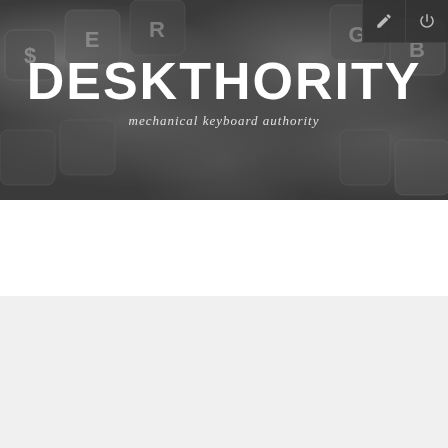[Figure (screenshot): Deskthority website header banner with keyboard background image showing mechanical keyboard keys in grayscale. Site logo 'DESKTHORITY' in large bold white uppercase letters with tagline 'mechanical keyboard authority' below.]
DESKTHORITY
mechanical keyboard authority
Board index
deskthority - Privacy policy
This policy explains in detail how “deskthority” along with its affiliated companies (hereinafter “we”, “us”, “our”, “deskthority”, “https://deskthority.net”) and phpBB (hereinafter “they”, “them”, “their”, “phpBB software”, “www.phpbb.com”, “phpBB Limited”, “phpBB Teams”) use any information collected during any session of usage by you (hereinafter “your information”).